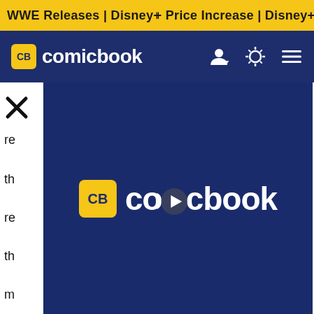WWE Releases | Disney+ Price Increase | Disney+ Price Increase
CB comicbook
[Figure (screenshot): ComicBook.com video player overlay showing the CB comicbook logo with a play button, displayed over a dark navy background. Partially overlapping article text on the left side.]
greater good, that's who he's been all season, that's who he continues to be, that's what a hero does. And so it felt like from that perspective, giving him that moment felt right for